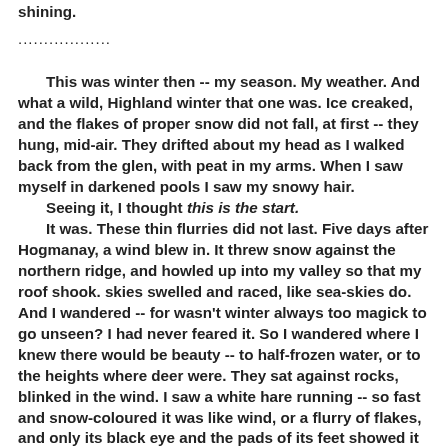shining.
..................
This was winter then -- my season. My weather. And what a wild, Highland winter that one was. Ice creaked, and the flakes of proper snow did not fall, at first -- they hung, mid-air. They drifted about my head as I walked back from the glen, with peat in my arms. When I saw myself in darkened pools I saw my snowy hair.
    Seeing it, I thought this is the start.
    It was. These thin flurries did not last. Five days after Hogmanay, a wind blew in. It threw snow against the northern ridge, and howled up into my valley so that my roof shook. skies swelled and raced, like sea-skies do. And I wandered -- for wasn't winter always too magick to go unseen? I had never feared it. So I wandered where I knew there would be beauty -- to half-frozen water, or to the heights where deer were. They sat against rocks, blinked in the wind. I saw a white hare running -- so fast and snow-coloured it was like wind, or a flurry of flakes, and only its black eye and the pads of its feet showed it was not these things. A snow hare -- I had never